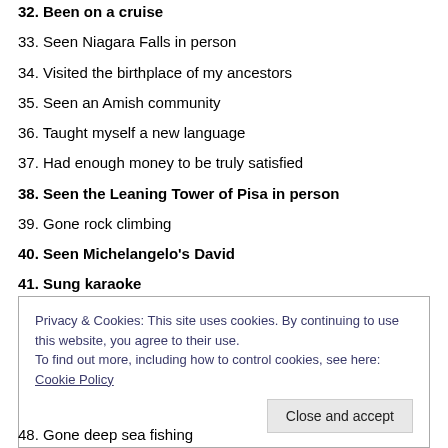32. Been on a cruise
33. Seen Niagara Falls in person
34. Visited the birthplace of my ancestors
35. Seen an Amish community
36. Taught myself a new language
37. Had enough money to be truly satisfied
38. Seen the Leaning Tower of Pisa in person
39. Gone rock climbing
40. Seen Michelangelo's David
41. Sung karaoke
42. Seen Old Faithful geyser erupt
Privacy & Cookies: This site uses cookies. By continuing to use this website, you agree to their use. To find out more, including how to control cookies, see here: Cookie Policy
48. Gone deep sea fishing